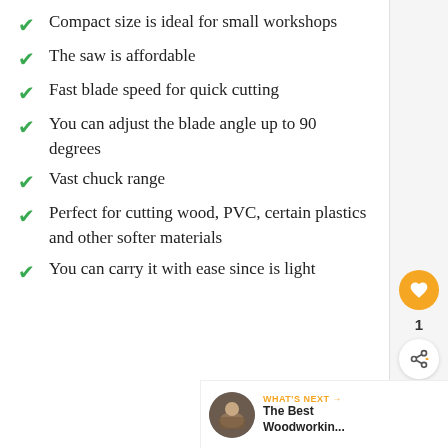Compact size is ideal for small workshops
The saw is affordable
Fast blade speed for quick cutting
You can adjust the blade angle up to 90 degrees
Vast chuck range
Perfect for cutting wood, PVC, certain plastics and other softer materials
You can carry it with ease since is light